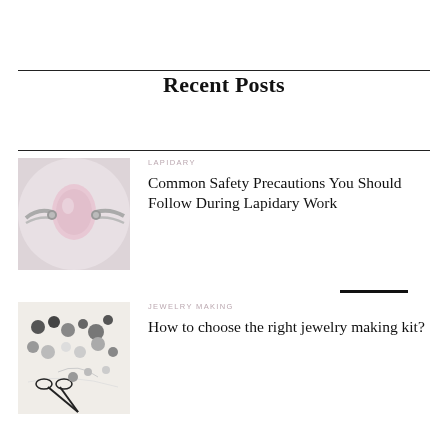Recent Posts
[Figure (photo): Silver bracelet with a pale pink oval gemstone set in ornate metalwork, on a light background]
LAPIDARY
Common Safety Precautions You Should Follow During Lapidary Work
[Figure (photo): Assorted beads and jewelry making tools including scissors and wire on a white background]
JEWELRY MAKING
How to choose the right jewelry making kit?